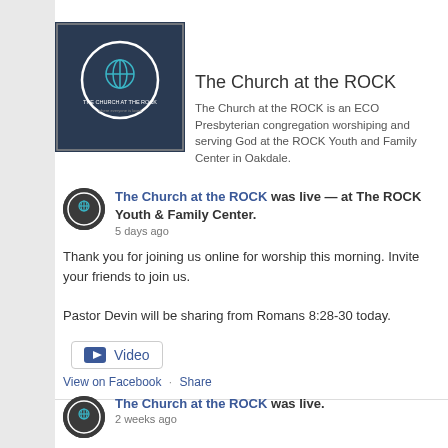f 413
[Figure (logo): The Church at the ROCK circular logo with globe/cross icon on dark navy background]
The Church at the ROCK
The Church at the ROCK is an ECO Presbyterian congregation worshiping and serving God at the ROCK Youth and Family Center in Oakdale.
The Church at the ROCK was live — at The ROCK Youth & Family Center.
5 days ago
Thank you for joining us online for worship this morning. Invite your friends to join us.

Pastor Devin will be sharing from Romans 8:28-30 today.
Video
View on Facebook · Share
The Church at the ROCK was live.
2 weeks ago